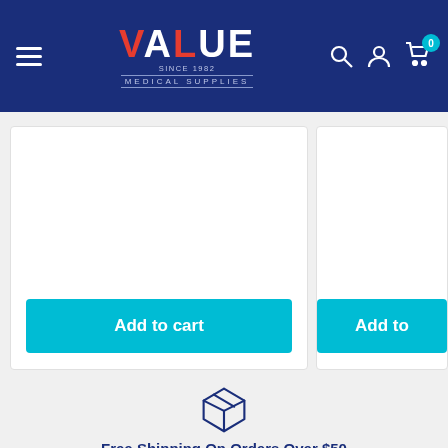[Figure (screenshot): Value Medical Supplies website header with navigation hamburger menu, logo, search icon, account icon, and cart icon with badge showing 0]
[Figure (screenshot): Two product cards partially visible with 'Add to cart' teal buttons]
[Figure (illustration): Box/package icon indicating shipping]
Free Shipping On Orders Over $50
We Offer Free Shipping For All Purchases Over $50. Use Promo Code "VALUE" at checkout.
[Figure (illustration): Customer support icon showing a person with a chat bubble]
Top-Notch Customer Support